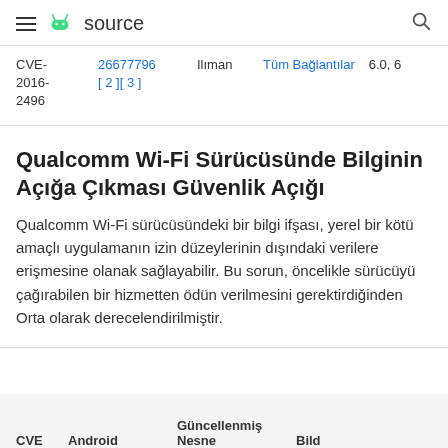source
| CVE | Referanslar | Önem Derecesi | Kapsam | Güncellenen Sürümler |
| --- | --- | --- | --- | --- |
| CVE-2016-2496 | 26677796 [2][3] | Ilıman | Tüm Bağlantılar | 6.0, 6 |
Qualcomm Wi-Fi Sürücüsünde Bilginin Açığa Çıkması Güvenlik Açığı
Qualcomm Wi-Fi sürücüsündeki bir bilgi ifşası, yerel bir kötü amaçlı uygulamanın izin düzeylerinin dışındaki verilere erişmesine olanak sağlayabilir. Bu sorun, öncelikle sürücüyü çağırabilen bir hizmetten ödün verilmesini gerektirdiğinden Orta olarak derecelendirilmiştir.
| CVE | Android | Güncellenmiş Nesne | Bild |
| --- | --- | --- | --- |